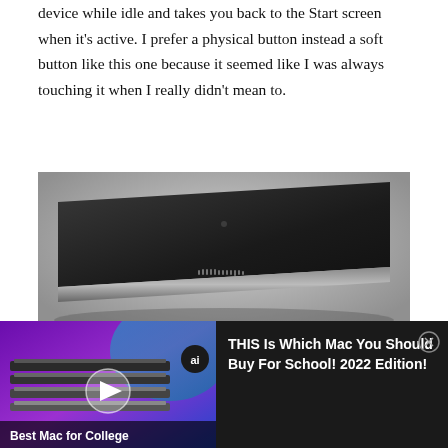device while idle and takes you back to the Start screen when it's active. I prefer a physical button instead a soft button like this one because it seemed like I was always touching it when I really didn't mean to.
[Figure (photo): Side profile of a thin dark tablet device lying flat on a surface, showing the slim edge with speaker grille]
[Figure (screenshot): Video advertisement showing stacked MacBook laptops with play button overlay. Badge showing 'ai'. Text overlay reads 'Best Mac for College'. Title text reads 'THIS Is Which Mac You Should Buy For School! 2022 Edition!' with a close (X) button.]